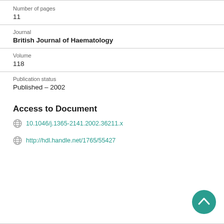Number of pages
11
Journal
British Journal of Haematology
Volume
118
Publication status
Published – 2002
Access to Document
10.1046/j.1365-2141.2002.36211.x
http://hdl.handle.net/1765/55427